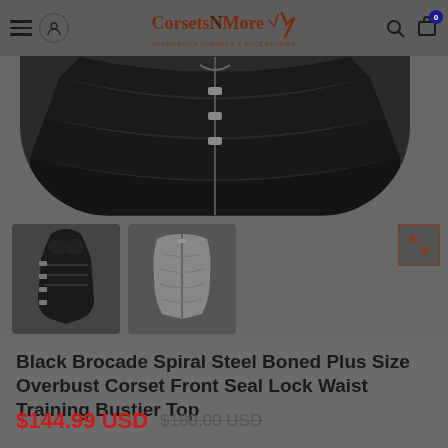Corsets N More — navigation header
[Figure (photo): Black brocade overbust corset product photo showing top view of corset with front closure, plus two thumbnail images: a black overbust corset front view and a grey underbust corset waist trainer]
Black Brocade Spiral Steel Boned Plus Size Overbust Corset Front Seal Lock Waist Training Bustier Top
$144.99 USD $180.00 USD